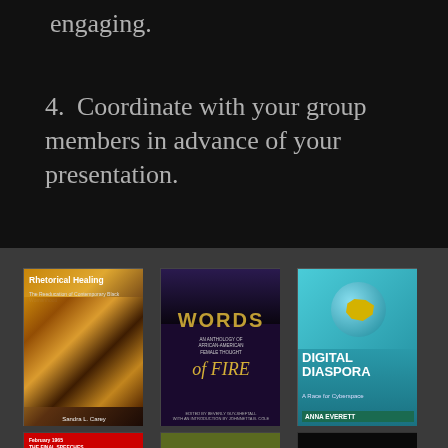engaging.
4. Coordinate with your group members in advance of your presentation.
[Figure (photo): A row of book covers shown in a carousel: Rhetorical Healing, Words of Fire, Digital Diaspora (top row); The Final Speeches, a green-covered book, and articulate (partially visible, bottom row). Books are displayed on a dark gray background.]